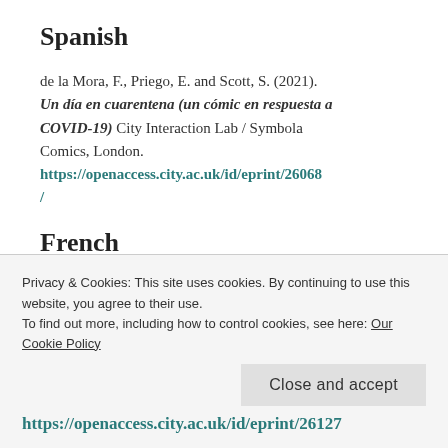Spanish
de la Mora, F., Priego, E. and Scott, S. (2021). Un día en cuarentena (un cómic en respuesta a COVID-19) City Interaction Lab / Symbola Comics, London. https://openaccess.city.ac.uk/id/eprint/26068/
French
Privacy & Cookies: This site uses cookies. By continuing to use this website, you agree to their use. To find out more, including how to control cookies, see here: Our Cookie Policy
https://openaccess.city.ac.uk/id/eprint/26127